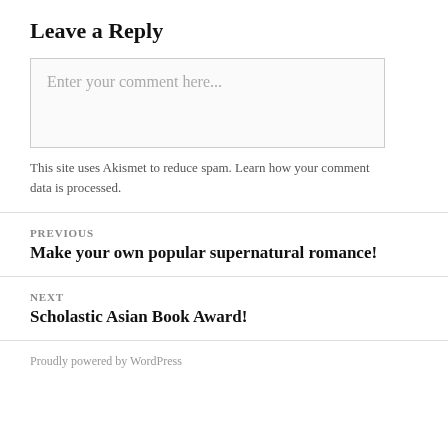Leave a Reply
Enter your comment here...
This site uses Akismet to reduce spam. Learn how your comment data is processed.
PREVIOUS
Make your own popular supernatural romance!
NEXT
Scholastic Asian Book Award!
Proudly powered by WordPress